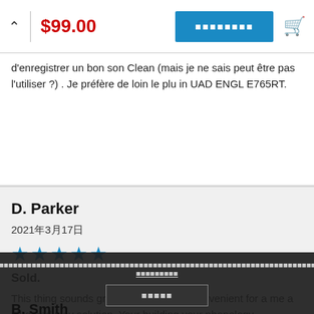$99.00
d'enregistrer un bon son Clean (mais je ne sais peut être pas l'utiliser ?) . Je préfère de loin le plu in UAD ENGL E765RT.
D. Parker
2021年3月17日
[Figure (other): Five blue star rating icons]
Sold.
This thing sounds great. And it's super convenient for a me a plug and play solution. Your building your phonology.
B. Smith